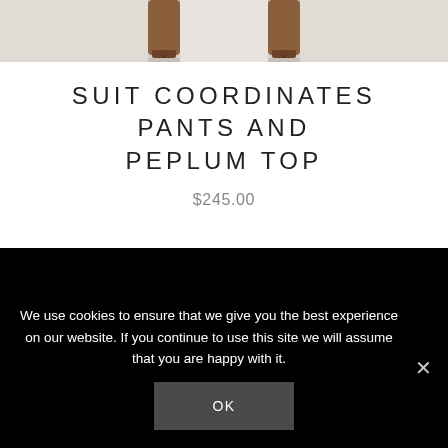[Figure (photo): Partial view of a model's legs wearing heeled sandals, product photo for suit coordinates]
SUIT COORDINATES PANTS AND PEPLUM TOP
$245.00
We use cookies to ensure that we give you the best experience on our website. If you continue to use this site we will assume that you are happy with it.
OK